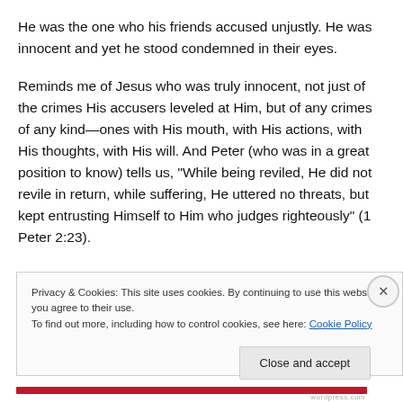He was the one who his friends accused unjustly. He was innocent and yet he stood condemned in their eyes.
Reminds me of Jesus who was truly innocent, not just of the crimes His accusers leveled at Him, but of any crimes of any kind—ones with His mouth, with His actions, with His thoughts, with His will. And Peter (who was in a great position to know) tells us, “While being reviled, He did not revile in return, while suffering, He uttered no threats, but kept entrusting Himself to Him who judges righteously” (1 Peter 2:23).
Privacy & Cookies: This site uses cookies. By continuing to use this website, you agree to their use.
To find out more, including how to control cookies, see here: Cookie Policy
Close and accept